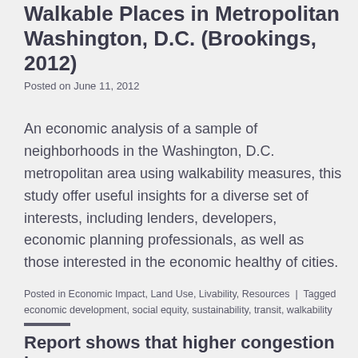Walkable Places in Metropolitan Washington, D.C. (Brookings, 2012)
Posted on June 11, 2012
An economic analysis of a sample of neighborhoods in the Washington, D.C. metropolitan area using walkability measures, this study offer useful insights for a diverse set of interests, including lenders, developers, economic planning professionals, as well as those interested in the economic healthy of cities.
Posted in Economic Impact, Land Use, Livability, Resources  |  Tagged economic development, social equity, sustainability, transit, walkability
Report shows that higher congestion is